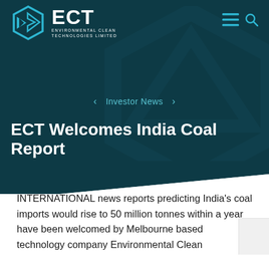[Figure (logo): ECT Environmental Clean Technologies Limited logo — hexagonal blue icon with geometric triangle/arrow shapes, with 'ECT' in large white bold text and 'ENVIRONMENTAL CLEAN TECHNOLOGIES LIMITED' in small white caps below]
Investor News
ECT Welcomes India Coal Report
21 Feb 2010 | News |
INTERNATIONAL news reports predicting India's coal imports would rise to 50 million tonnes within a year have been welcomed by Melbourne based technology company Environmental Clean